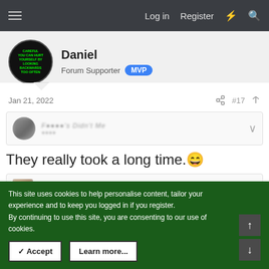☰  Log in  Register  ⚡  🔍
Daniel
Forum Supporter  MVP
Jan 21, 2022   #17
They really took a long time. 😄
This site uses cookies to help personalise content, tailor your experience and to keep you logged in if you register.
By continuing to use this site, you are consenting to our use of cookies.
✓ Accept   Learn more...